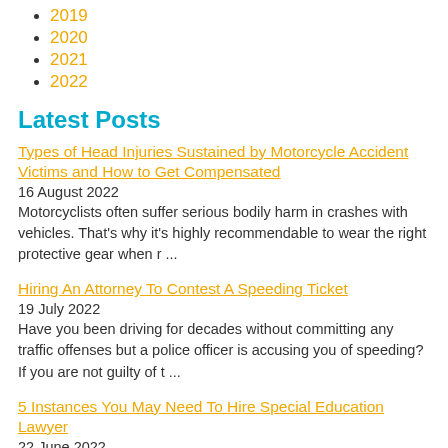2019
2020
2021
2022
Latest Posts
Types of Head Injuries Sustained by Motorcycle Accident Victims and How to Get Compensated
16 August 2022
Motorcyclists often suffer serious bodily harm in crashes with vehicles. That's why it's highly recommendable to wear the right protective gear when r ...
Hiring An Attorney To Contest A Speeding Ticket
19 July 2022
Have you been driving for decades without committing any traffic offenses but a police officer is accusing you of speeding? If you are not guilty of t ...
5 Instances You May Need To Hire Special Education Lawyer
22 June 2022
It can be tough to know when you need to hire a special education lawyer. After all, many people don't even know what they do! But special education l...